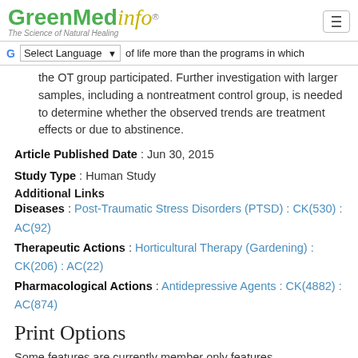GreenMedinfo - The Science of Natural Healing
of life more than the programs in which the OT group participated. Further investigation with larger samples, including a nontreatment control group, is needed to determine whether the observed trends are treatment effects or due to abstinence.
Article Published Date : Jun 30, 2015
Study Type : Human Study
Additional Links
Diseases : Post-Traumatic Stress Disorders (PTSD) : CK(530) : AC(92)
Therapeutic Actions : Horticultural Therapy (Gardening) : CK(206) : AC(22)
Pharmacological Actions : Antidepressive Agents : CK(4882) : AC(874)
Print Options
Some features are currently member only features. If you are already a member, please login. Otherwise, click here to become a member.